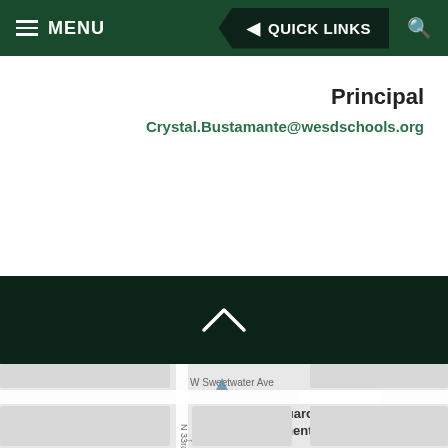MENU  ◀ QUICK LINKS  🔍
Principal
Crystal.Bustamante@wesdschools.org
[Figure (screenshot): Dark green back-to-top bar with upward chevron arrow]
[Figure (map): Google Maps screenshot showing Sahuaro Elementary School at N 33rd Ave and W Sweetwater Ave]